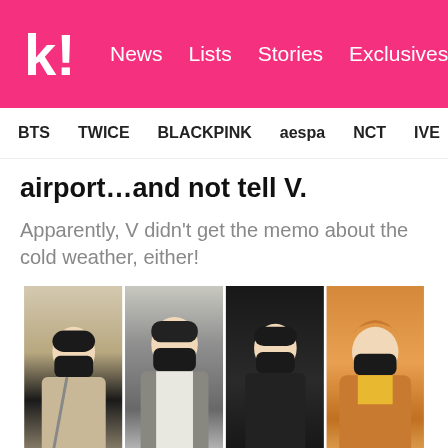k! News Lists Stories Exclusives
BTS  TWICE  BLACKPINK  aespa  NCT  IVE  SHINee
airport…and not tell V.
Apparently, V didn't get the memo about the cold weather, either!
[Figure (photo): Collage of four photos showing K-pop artists wearing black face masks and winter clothing at an airport. Left to right: person in beanie and coat, person in grey jacket and black cap, person in all-black outfit with cap, person in fluffy brown robe-style outfit.]